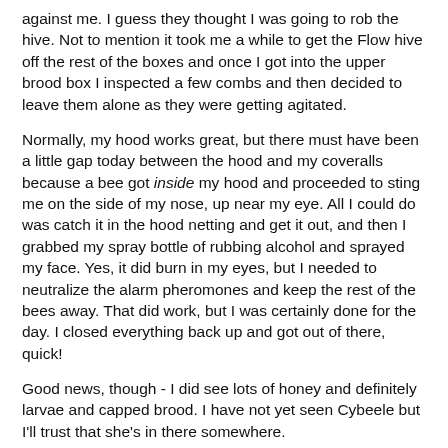against me. I guess they thought I was going to rob the hive. Not to mention it took me a while to get the Flow hive off the rest of the boxes and once I got into the upper brood box I inspected a few combs and then decided to leave them alone as they were getting agitated.
Normally, my hood works great, but there must have been a little gap today between the hood and my coveralls because a bee got inside my hood and proceeded to sting me on the side of my nose, up near my eye. All I could do was catch it in the hood netting and get it out, and then I grabbed my spray bottle of rubbing alcohol and sprayed my face. Yes, it did burn in my eyes, but I needed to neutralize the alarm pheromones and keep the rest of the bees away. That did work, but I was certainly done for the day. I closed everything back up and got out of there, quick!
Good news, though - I did see lots of honey and definitely larvae and capped brood. I have not yet seen Cybeele but I'll trust that she's in there somewhere.
My nose doesn't hurt too badly, either. Could've been a lot worse.